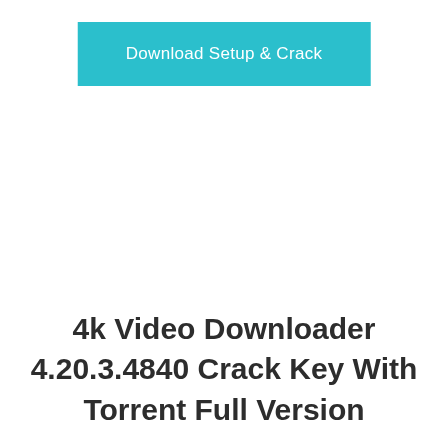[Figure (other): Teal/cyan rectangular button with white text reading 'Download Setup & Crack']
4k Video Downloader 4.20.3.4840 Crack Key With Torrent Full Version